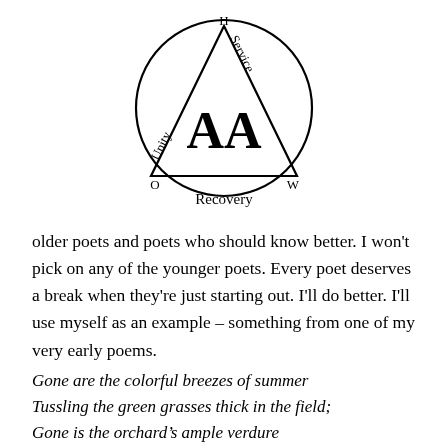[Figure (logo): Alcoholics Anonymous logo: a circle containing a triangle with 'AA' in the center. The triangle has 'Unity' on the left side, 'Service' on the right side, and 'Recovery' along the bottom. Letters H at the top vertex, O at the bottom-left vertex, W at the bottom-right vertex.]
older poets and poets who should know better. I won't pick on any of the younger poets. Every poet deserves a break when they're just starting out. I'll do better. I'll use myself as an example – something from one of my very early poems.
Gone are the colorful breezes of summer
Tussling the green grasses thick in the field;
Gone is the orchard's ample verdure
And the cherry-red ripeness of its yield;